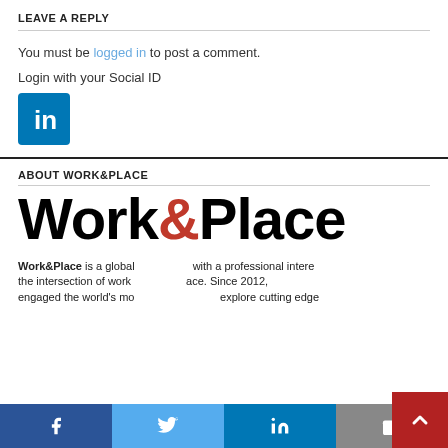LEAVE A REPLY
You must be logged in to post a comment.
Login with your Social ID
[Figure (logo): LinkedIn login button - blue square with white 'in' logo]
ABOUT WORK&PLACE
[Figure (logo): Work&Place logo in large bold black text with red ampersand]
Work&Place is a global forum for people with a professional interest in the intersection of work and place. Since 2012, engaged the world's most explore cutting edge
[Figure (infographic): Social share bar with Facebook, Twitter, LinkedIn, and Email buttons, plus a red scroll-to-top button]